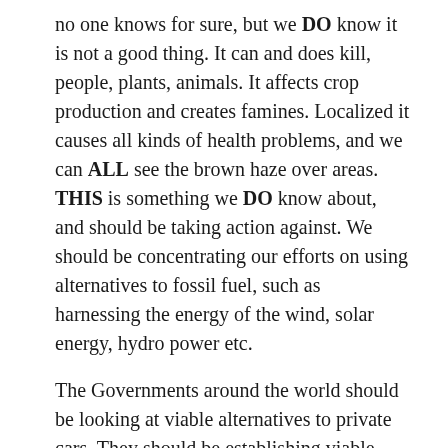no one knows for sure, but we DO know it is not a good thing. It can and does kill, people, plants, animals. It affects crop production and creates famines. Localized it causes all kinds of health problems, and we can ALL see the brown haze over areas. THIS is something we DO know about, and should be taking action against. We should be concentrating our efforts on using alternatives to fossil fuel, such as harnessing the energy of the wind, solar energy, hydro power etc.
The Governments around the world should be looking at viable alternatives to private cars. They should be establishing viable public transit. However what do city buses run on? Fossil fuels.
I would say “Global Warming Theories” could be compared to Religious beliefs, some people will DIE defending the beliefs they have, kill others who dont share those same beliefs, start wars, flatten countries, kill innocent children to defend and force their beliefs on others. Yet there is NOT